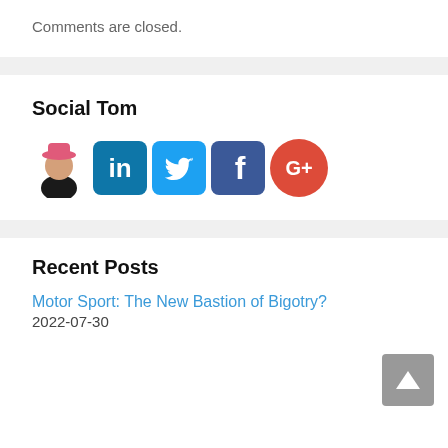Comments are closed.
Social Tom
[Figure (illustration): Social media icons row: avatar photo of Tom (man in pink hat and black jacket), LinkedIn blue square icon, Twitter blue bird icon, Facebook dark blue square icon, Google+ red circle icon]
Recent Posts
Motor Sport: The New Bastion of Bigotry?
2022-07-30